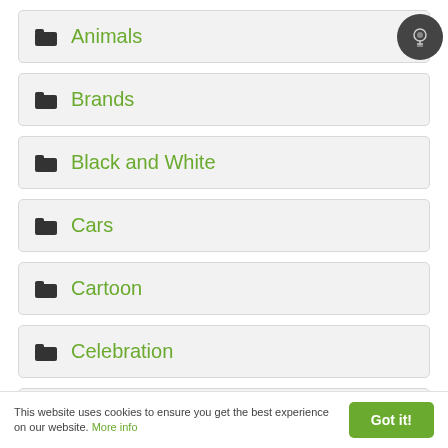Animals
Brands
Black and White
Cars
Cartoon
Celebration
Food
This website uses cookies to ensure you get the best experience on our website. More info